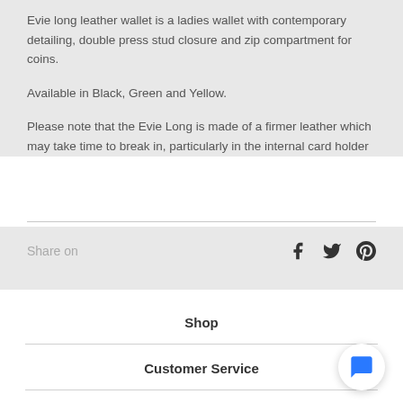Evie long leather wallet is a ladies wallet with contemporary detailing, double press stud closure and zip compartment for coins.
Available in Black, Green and Yellow.
Please note that the Evie Long is made of a firmer leather which may take time to break in, particularly in the internal card holder
Share on
Shop
Customer Service
About